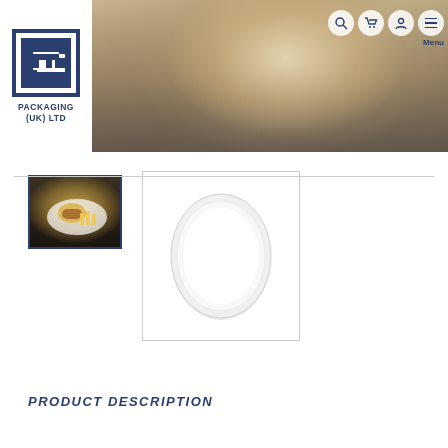[Figure (screenshot): GM Packaging (UK) Ltd website header with logo on left, hero background image of burger and food on plate in center-right, and navigation icons (search, cart, user, menu) in top right corner with 'Menu' label below.]
[Figure (photo): Thumbnail image of a burger and chips served on a white oval plate against a dark background, selected/active state with blue border.]
[Figure (photo): Main product image showing a plain white oval plate on white background.]
PRODUCT DESCRIPTION